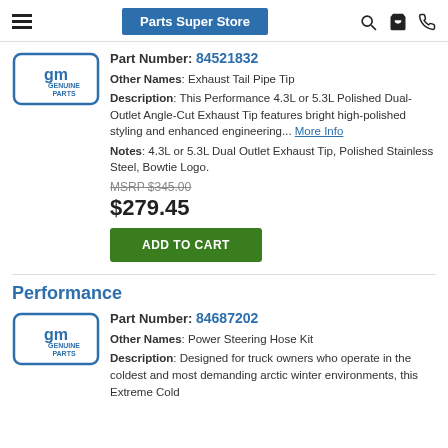Parts Super Store
Part Number: 84521832
Other Names: Exhaust Tail Pipe Tip
Description: This Performance 4.3L or 5.3L Polished Dual-Outlet Angle-Cut Exhaust Tip features bright high-polished styling and enhanced engineering... More Info
Notes: 4.3L or 5.3L Dual Outlet Exhaust Tip, Polished Stainless Steel, Bowtie Logo.
MSRP $345.00
$279.45
ADD TO CART
Performance
Part Number: 84687202
Other Names: Power Steering Hose Kit
Description: Designed for truck owners who operate in the coldest and most demanding arctic winter environments, this Extreme Cold